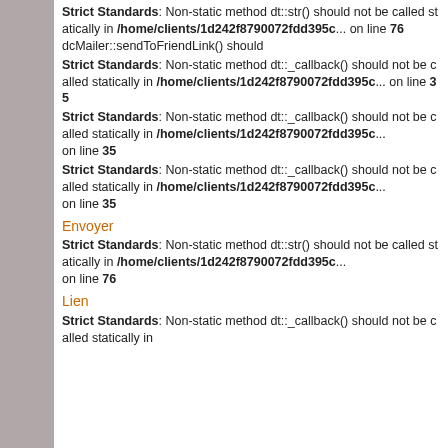Strict Standards: Non-static method dt::str() should not be called statically in /home/clients/1d242f8790072fdd395c... on line 76 dcMailer::sendToFriendLink() should
Strict Standards: Non-static method dt::_callback() should not be called statically in /home/clients/1d242f8790072fdd395c... on line 35
Strict Standards: Non-static method dt::_callback() should not be called statically in /home/clients/1d242f8790072fdd395c... on line 35
Envoyer
Strict Standards: Non-static method dt::str() should not be called statically in /home/clients/1d242f8790072fdd395c on line 76
Lien
Strict Standards: Non-static method dt::_callback() should not be called statically in